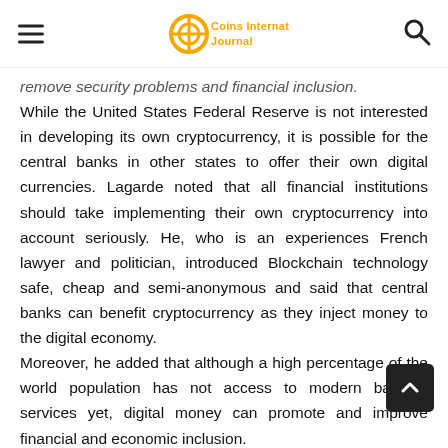Coins International Journal
remove security problems and financial inclusion. While the United States Federal Reserve is not interested in developing its own cryptocurrency, it is possible for the central banks in other states to offer their own digital currencies. Lagarde noted that all financial institutions should take implementing their own cryptocurrency into account seriously. He, who is an experiences French lawyer and politician, introduced Blockchain technology safe, cheap and semi-anonymous and said that central banks can benefit cryptocurrency as they inject money to the digital economy. Moreover, he added that although a high percentage of the world population has not access to modern banking services yet, digital money can promote and improve financial and economic inclusion.  Even Kevin Warsh, former Federal Reserve governor United States who was the candidate for heading Federal